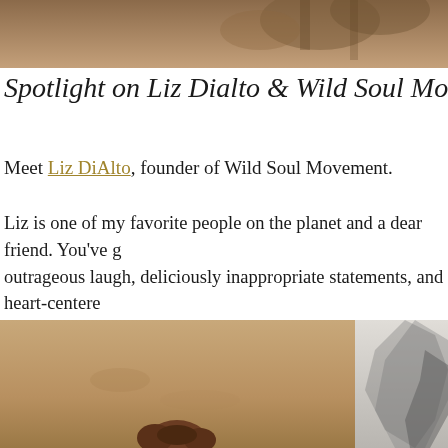[Figure (photo): Top banner photo with warm brown/tan tones, partially visible figure or nature scene]
Spotlight on Liz Dialto & Wild Soul Movement
Meet Liz DiAlto, founder of Wild Soul Movement.
Liz is one of my favorite people on the planet and a dear friend. You've g outrageous laugh, deliciously inappropriate statements, and heart-centere to put her in my pocket…
[Figure (photo): Two side-by-side photos: left shows a woman with curly brown hair on a sandy/stone background (warm tones); right shows a black and white photo of rocky terrain]